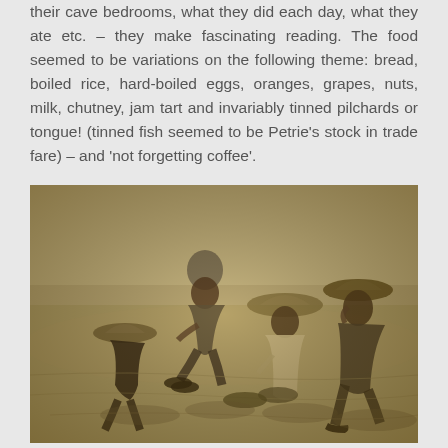their cave bedrooms, what they did each day, what they ate etc. – they make fascinating reading. The food seemed to be variations on the following theme: bread, boiled rice, hard-boiled eggs, oranges, grapes, nuts, milk, chutney, jam tart and invariably tinned pilchards or tongue! (tinned fish seemed to be Petrie's stock in trade fare) – and 'not forgetting coffee'.
[Figure (photo): A sepia-toned historical photograph showing four people sitting on sandy ground in a desert setting, eating a meal outdoors. The figures wear period clothing including wide-brimmed hats, suggesting an archaeological expedition in the early 20th century.]